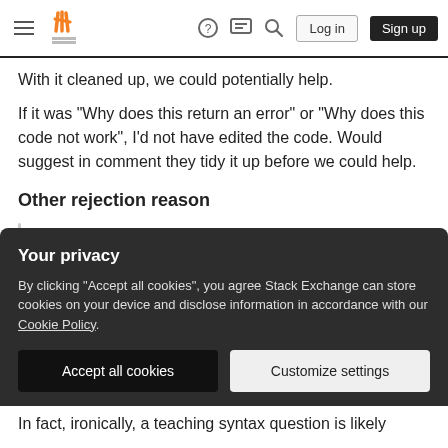Stack Exchange navigation bar with hamburger menu, SO logo, help icon, chat icon, search icon, Log in button, Sign up button
With it cleaned up, we could potentially help.
If it was "Why does this return an error" or "Why does this code not work", I'd not have edited the code. Would suggest in comment they tidy it up before we could help.
Other rejection reason
It would remove one of the fundamental items that the OP needs to be taught - proper syntax, non-trivial
Your privacy
By clicking "Accept all cookies", you agree Stack Exchange can store cookies on your device and disclose information in accordance with our Cookie Policy.
Accept all cookies
Customize settings
In fact, ironically, a teaching syntax question is likely